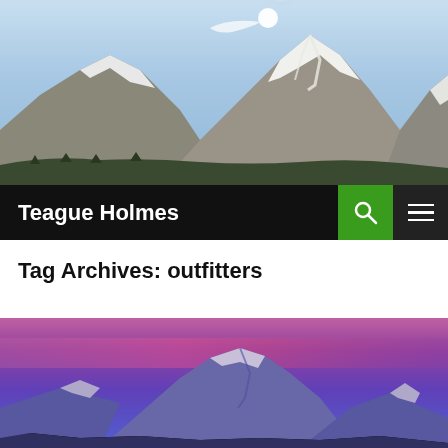[Figure (photo): Snow-capped mountain peaks with blue sky and sunlight, daytime outdoor landscape photo]
Teague Holmes
Tag Archives: outfitters
[Figure (photo): Snow-capped mountain peak at dusk/dawn with purple and pink sky, outdoor landscape photo]